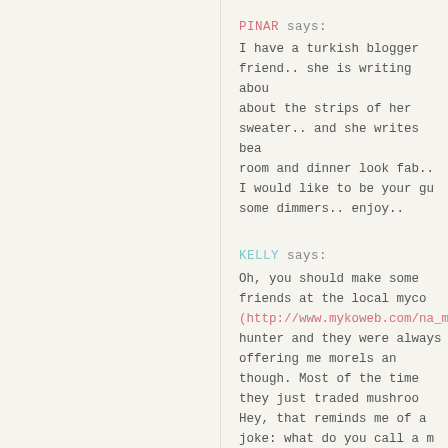PINAR says: I have a turkish blogger friend.. she is writing about the strips of her sweater.. and she writes beautifully.. room and dinner look fab.. I would like to be your gu some dimmers.. enjoy..
KELLY says: Oh, you should make some friends at the local myco (http://www.mykoweb.com/na_mycos.html#OHOR hunter and they were always offering me morels ar though. Most of the time they just traded mushroom Hey, that reminds me of a joke: what do you call a m A fungi to be with!
CHRIS HOWARD says: Well you know I got Ina's Family Favorites this week Remember the photos I showed you of our Hallowe entire weekend trying to spookify the whole house. here, but it left little time for anything else (like coo A dutch oven is a WONDERFUL thing. I have this n